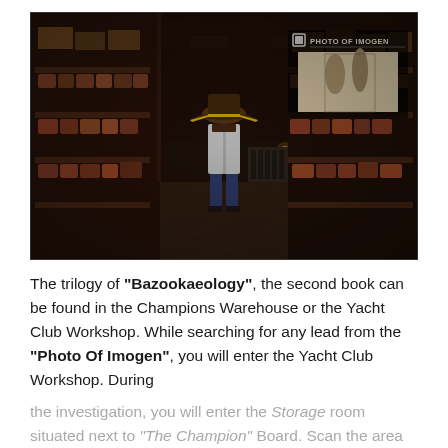[Figure (screenshot): Video game screenshot showing a character with a large hat standing in a dark storage room or warehouse with shelves stocked with crates and jars. In the upper right corner, a UI element shows 'PHOTO OF IMOGEN' with a small black-and-white photograph of a woman.]
The trilogy of "Bazookaeology", the second book can be found in the Champions Warehouse or the Yacht Club Workshop. While searching for any lead from the "Photo Of Imogen", you will enter the Yacht Club Workshop. During
the investigation, you will enter the Storage room situated next to "The Champion" Board. Scan the area inside and on